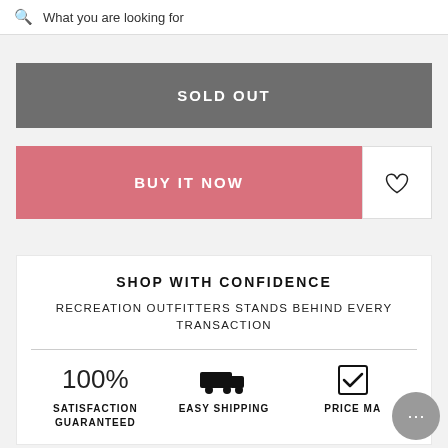What you are looking for
SOLD OUT
BUY IT NOW
SHOP WITH CONFIDENCE
RECREATION OUTFITTERS STANDS BEHIND EVERY TRANSACTION
100% SATISFACTION GUARANTEED
EASY SHIPPING
PRICE MA...